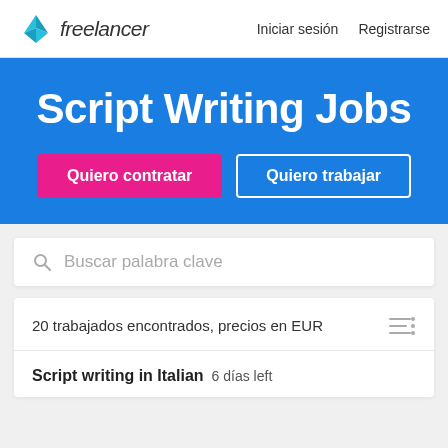[Figure (logo): Freelancer logo with blue origami bird icon and 'freelancer' text]
Iniciar sesión   Registrarse
Script Writing Jobs
Quiero contratar
Quiero trabajar
Buscar palabra clave
20 trabajados encontrados, precios en EUR
Script writing in Italian  6 días left